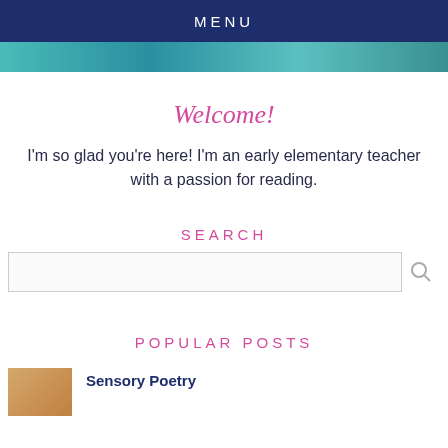MENU
[Figure (photo): Partial hero image showing colorful fabric or clothing in teal/green tones]
Welcome!
I'm so glad you're here! I'm an early elementary teacher with a passion for reading.
SEARCH
POPULAR POSTS
Sensory Poetry